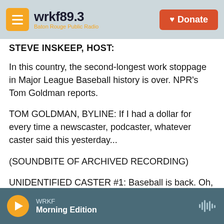wrkf 89.3 Baton Rouge Public Radio | Donate
STEVE INSKEEP, HOST:
In this country, the second-longest work stoppage in Major League Baseball history is over. NPR's Tom Goldman reports.
TOM GOLDMAN, BYLINE: If I had a dollar for every time a newscaster, podcaster, whatever caster said this yesterday...
(SOUNDBITE OF ARCHIVED RECORDING)
UNIDENTIFIED CASTER #1: Baseball is back. Oh, my god. Baseball is back.
WRKF Morning Edition